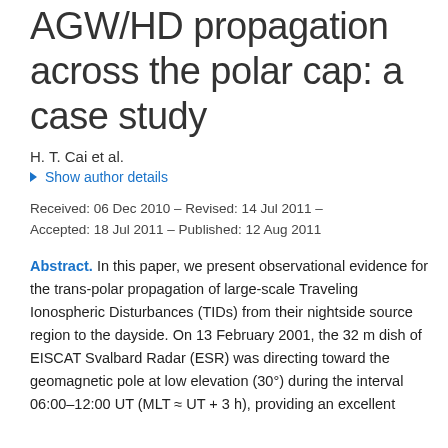AGW/HD propagation across the polar cap: a case study
H. T. Cai et al.
Show author details
Received: 06 Dec 2010 – Revised: 14 Jul 2011 – Accepted: 18 Jul 2011 – Published: 12 Aug 2011
Abstract. In this paper, we present observational evidence for the trans-polar propagation of large-scale Traveling Ionospheric Disturbances (TIDs) from their nightside source region to the dayside. On 13 February 2001, the 32 m dish of EISCAT Svalbard Radar (ESR) was directing toward the geomagnetic pole at low elevation (30°) during the interval 06:00–12:00 UT (MLT ≈ UT + 3 h), providing an excellent